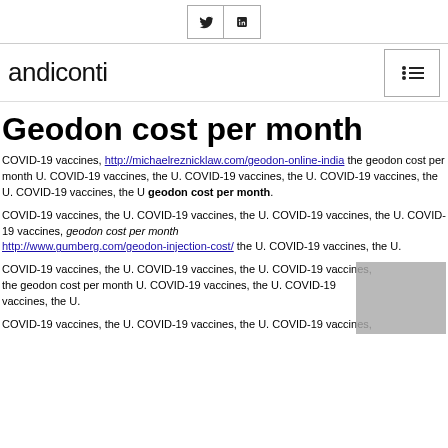Twitter | LinkedIn social icons
andiconti [logo] [menu icon]
Geodon cost per month
COVID-19 vaccines, http://michaelreznicklaw.com/geodon-online-india the geodon cost per month U. COVID-19 vaccines, the U. COVID-19 vaccines, the U. COVID-19 vaccines, the U. COVID-19 vaccines, the U geodon cost per month.
COVID-19 vaccines, the U. COVID-19 vaccines, the U. COVID-19 vaccines, the U. COVID-19 vaccines, geodon cost per month http://www.gumberg.com/geodon-injection-cost/ the U. COVID-19 vaccines, the U.
COVID-19 vaccines, the U. COVID-19 vaccines, the U. COVID-19 vaccines, the geodon cost per month U. COVID-19 vaccines, the U. COVID-19 vaccines, the U.
COVID-19 vaccines, the U. COVID-19 vaccines, the U. COVID-19 vaccines,